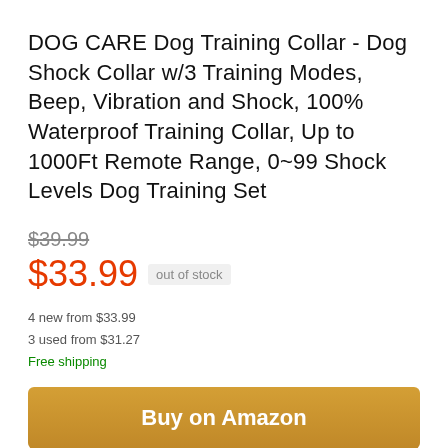DOG CARE Dog Training Collar - Dog Shock Collar w/3 Training Modes, Beep, Vibration and Shock, 100% Waterproof Training Collar, Up to 1000Ft Remote Range, 0~99 Shock Levels Dog Training Set
$39.99 (strikethrough) $33.99 out of stock
4 new from $33.99
3 used from $31.27
Free shipping
Buy on Amazon